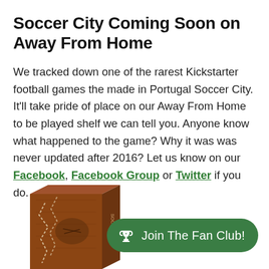Soccer City Coming Soon on Away From Home
We tracked down one of the rarest Kickstarter football games the made in Portugal Soccer City. It'll take pride of place on our Away From Home to be played shelf we can tell you. Anyone know what happened to the game? Why it was was never updated after 2016? Let us know on our Facebook, Facebook Group or Twitter if you do.
[Figure (photo): Photo of a Soccer City board game box with brown leather-style cover, partially visible. A green pill-shaped 'Join The Fan Club!' button with a trophy icon overlays the bottom right.]